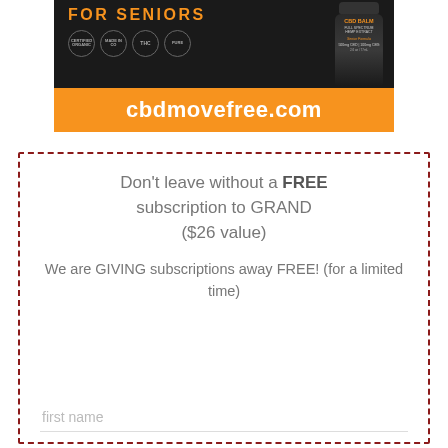[Figure (photo): Advertisement for CBD Balm for Seniors showing product imagery, certification icons, and cbdmovefree.com URL on orange and black background]
Don't leave without a FREE subscription to GRAND ($26 value)
We are GIVING subscriptions away FREE! (for a limited time)
first name